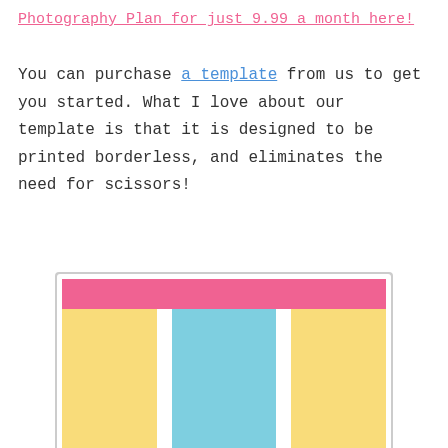Photography Plan for just 9.99 a month here!
You can purchase a template from us to get you started. What I love about our template is that it is designed to be printed borderless, and eliminates the need for scissors!
[Figure (illustration): A colorful template layout showing three columns: two yellow side columns and a light blue center column, with a pink/magenta horizontal band across the top portion.]